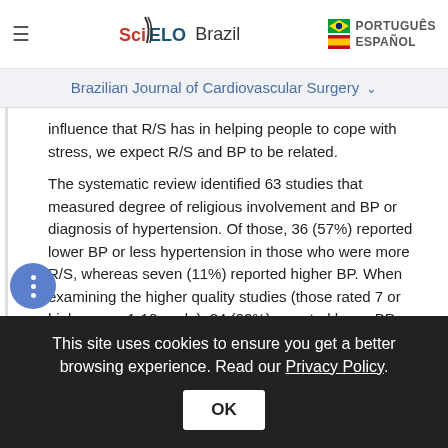≡  SciELO Brazil   PORTUGUÊS   ESPAÑOL
Brazilian Journal of Cardiovascular Surgery
influence that R/S has in helping people to cope with stress, we expect R/S and BP to be related.

The systematic review identified 63 studies that measured degree of religious involvement and BP or diagnosis of hypertension. Of those, 36 (57%) reported lower BP or less hypertension in those who were more R/S, whereas seven (11%) reported higher BP. When examining the higher quality studies (those rated 7 or higher on a 1-10 scale), 24 (62%) reported lower BP or less hypertension among those who were more R/S
This site uses cookies to ensure you get a better browsing experience. Read our Privacy Policy.